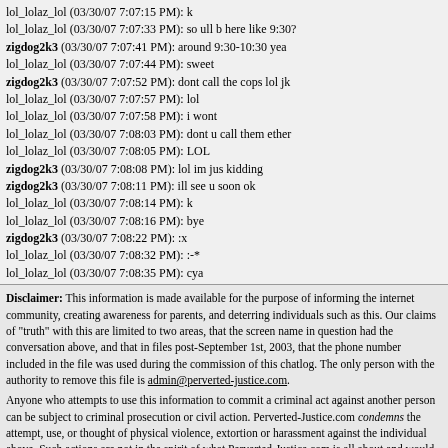Chat log lines from lol_lolaz_lol and zigdog2k3, timestamps 03/30/07 7:07-7:08 PM
Disclaimer: This information is made available for the purpose of informing the internet community, creating awareness for parents, and deterring individuals such as this. Our claims of 'truth' with this are limited to two areas, that the screen name in question had the conversation above, and that in files post-September 1st, 2003, that the phone number included in the file was used during the commission of this chatlog. The only person with the authority to remove this file is admin@perverted-justice.com.
Anyone who attempts to use this information to commit a criminal act against another person can be subject to criminal prosecution or civil action. Perverted-Justice.com condemns the attempt, use, or thought of physical violence, extortion or harassment against the individual above. Such actions are not in the spirit of what Perverted-Justice.com is all about and would put your own personal safety at risk.
Slimyness Scale: Your opinions on this post
On a 1-5 scale. 1. Not slimy at all | 5. Really slimy
Average Slimyness: 2.84 | Total Votes: 109
1. Not really Slimy  2. Somewhat Slimy  3. Just Plain Slimy  4. Really Slimy  5. Simply beyond slimy